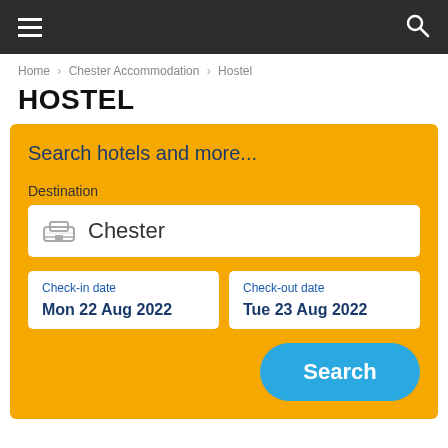Navigation bar with hamburger menu and search icon
Home › Chester Accommodation › Hostel
HOSTEL
Search hotels and more...
Destination
Chester
Check-in date
Mon 22 Aug 2022
Check-out date
Tue 23 Aug 2022
Search